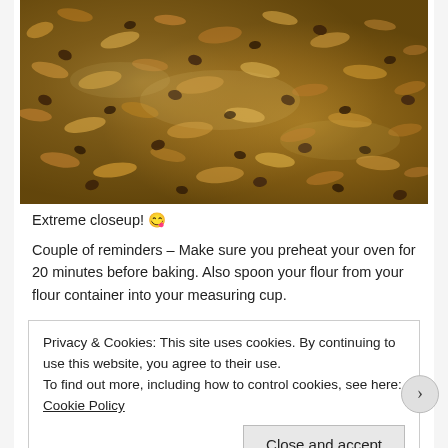[Figure (photo): Extreme closeup photograph of a baked oatmeal chocolate chip cookie, showing golden-brown oats and dark chocolate chips in great detail.]
Extreme closeup! 😋
Couple of reminders – Make sure you preheat your oven for 20 minutes before baking. Also spoon your flour from your flour container into your measuring cup.
Privacy & Cookies: This site uses cookies. By continuing to use this website, you agree to their use.
To find out more, including how to control cookies, see here: Cookie Policy
[Close and accept]